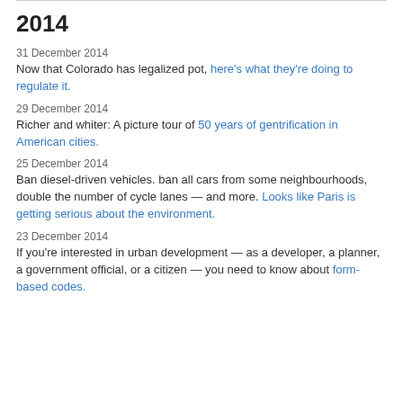2014
31 December 2014
Now that Colorado has legalized pot, here's what they're doing to regulate it.
29 December 2014
Richer and whiter: A picture tour of 50 years of gentrification in American cities.
25 December 2014
Ban diesel-driven vehicles. ban all cars from some neighbourhoods, double the number of cycle lanes — and more. Looks like Paris is getting serious about the environment.
23 December 2014
If you're interested in urban development — as a developer, a planner, a government official, or a citizen — you need to know about form-based codes.